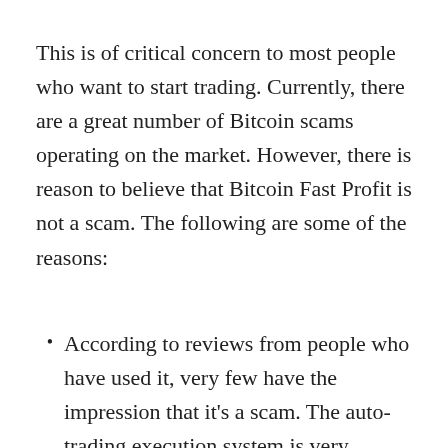This is of critical concern to most people who want to start trading. Currently, there are a great number of Bitcoin scams operating on the market. However, there is reason to believe that Bitcoin Fast Profit is not a scam. The following are some of the reasons:
According to reviews from people who have used it, very few have the impression that it's a scam. The auto-trading execution system is very complicated. The way the system is created makes it very useful in giving the desired successful outcome on trades.
When it comes to security, the users don't have to worry. The United States Trading Association and other top antivirus